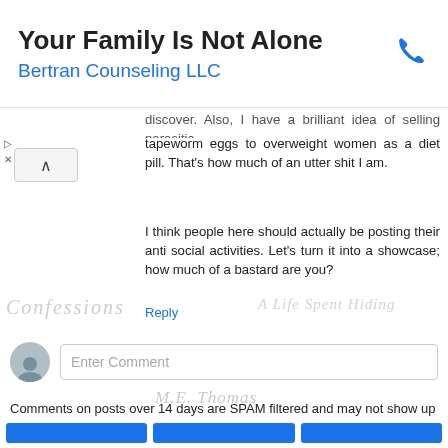[Figure (screenshot): Advertisement banner for 'Bertran Counseling LLC' with title 'Your Family Is Not Alone', blue subtitle text, and a phone icon on the right]
tapeworm eggs to overweight women as a diet pill. That's how much of an utter shit I am.
I think people here should actually be posting their anti social activities. Let's turn it into a showcase; how much of a bastard are you?
Reply
[Figure (screenshot): Comment input box with avatar icon and 'Enter Comment' placeholder text]
Comments on posts over 14 days are SPAM filtered and may not show up right away or at all.